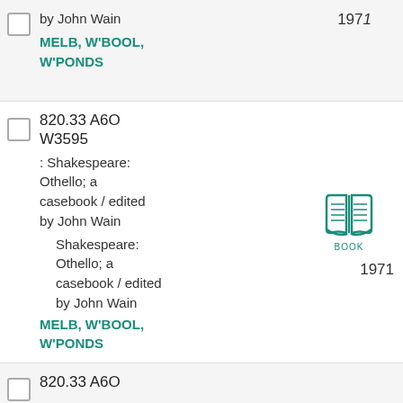by John Wain
MELB, W'BOOL, W'PONDS
1971
820.33 A6O W3595
: Shakespeare: Othello; a casebook / edited by John Wain
Shakespeare: Othello; a casebook / edited by John Wain
MELB, W'BOOL, W'PONDS
1971
820.33 A6O